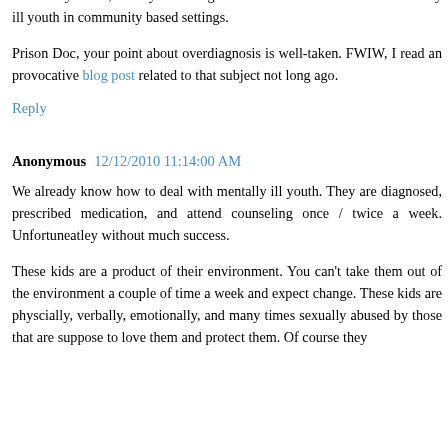10:33, if resources were unlimited, unlimited detention might be an option. Since they're not, society has to figure out how to deal with most mentally ill youth in community based settings.
Prison Doc, your point about overdiagnosis is well-taken. FWIW, I read an provocative blog post related to that subject not long ago.
Reply
Anonymous 12/12/2010 11:14:00 AM
We already know how to deal with mentally ill youth. They are diagnosed, prescribed medication, and attend counseling once / twice a week. Unfortuneatley without much success.
These kids are a product of their environment. You can't take them out of the environment a couple of time a week and expect change. These kids are physcially, verbally, emotionally, and many times sexually abused by those that are suppose to love them and protect them. Of course they